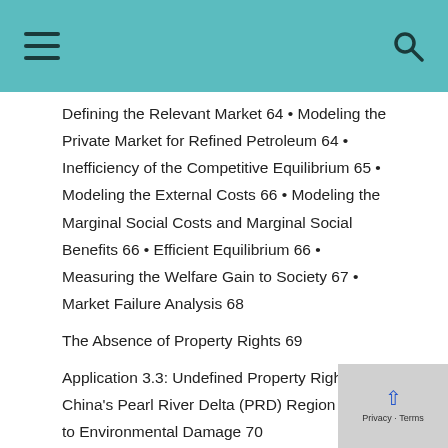Defining the Relevant Market 64 • Modeling the Private Market for Refined Petroleum 64 • Inefficiency of the Competitive Equilibrium 65 • Modeling the External Costs 66 • Modeling the Marginal Social Costs and Marginal Social Benefits 66 • Efficient Equilibrium 66 • Measuring the Welfare Gain to Society 67 • Market Failure Analysis 68
The Absence of Property Rights 69
Application 3.3: Undefined Property Rights to China's Pearl River Delta (PRD) Region Leads to Environmental Damage 70
The Coase Theorem 71 • Bargaining When Property Rights Belong to the